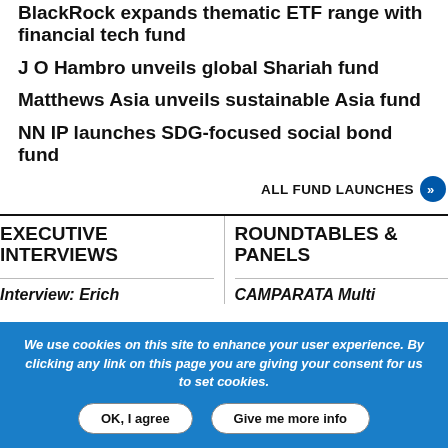BlackRock expands thematic ETF range with financial tech fund
J O Hambro unveils global Shariah fund
Matthews Asia unveils sustainable Asia fund
NN IP launches SDG-focused social bond fund
ALL FUND LAUNCHES
EXECUTIVE INTERVIEWS
ROUNDTABLES & PANELS
Interview: Erich
CAMPARATA Multi
We use cookies on this site to enhance your user experience. By clicking any link on this page you are giving your consent for us to set cookies.